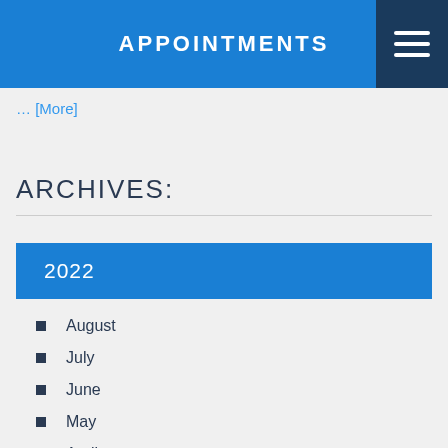APPOINTMENTS
… [More]
ARCHIVES:
2022
August
July
June
May
April
March
February
January